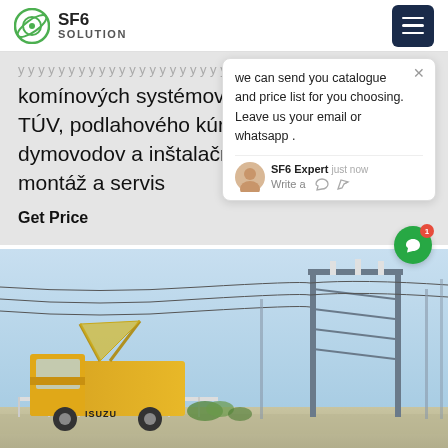SF6 SOLUTION
komínových systémov, zásobníkov TÚV, podlahového kúrenia, dymovodov a inštalačného materiálu; montáž a servis
Get Price
we can send you catalogue and price list for you choosing. Leave us your email or whatsapp .
SF6 Expert   just now
Write a
[Figure (photo): Yellow ISUZU service truck with open roof panels parked in front of an electrical substation with tall transmission structures and power lines under a blue sky.]